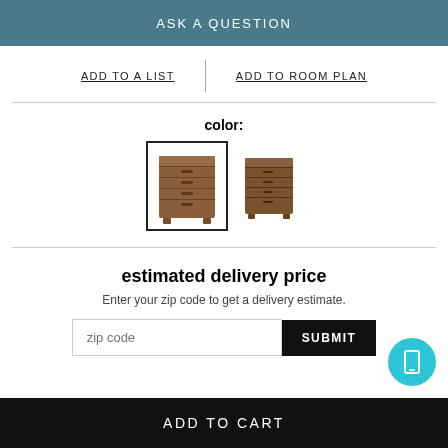ASK A QUESTION
ADD TO A LIST
ADD TO ROOM PLAN
color:
[Figure (photo): Two wooden chest/dresser furniture items shown as color swatches — the first (selected, with black border) and the second (unselected) side by side.]
estimated delivery price
Enter your zip code to get a delivery estimate.
zip code
SUBMIT
ADD TO CART